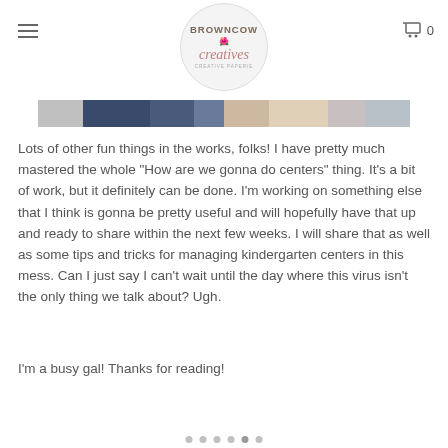BROWNCOW Creatives - Creative Paperie
[Figure (photo): Partial photo strip showing a person in jeans, cropped, used as a blog post image]
Lots of other fun things in the works, folks! I have pretty much mastered the whole "How are we gonna do centers" thing.  It's a bit of work, but it definitely can be done. I'm working on something else that I think is gonna be pretty useful and will hopefully have that up and ready to share within the next few weeks. I will share that as well as some tips and tricks for managing kindergarten centers in this mess. Can I just say I can't wait until the day where this virus isn't the only thing we talk about? Ugh.
I'm a busy gal! Thanks for reading!
• • •